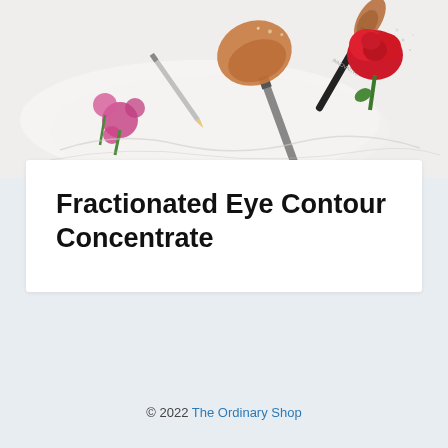[Figure (photo): Flat lay photo of makeup brushes, a red rose, small pink flowers, a pencil, and a white lace fabric on a white background]
Fractionated Eye Contour Concentrate
© 2022 The Ordinary Shop